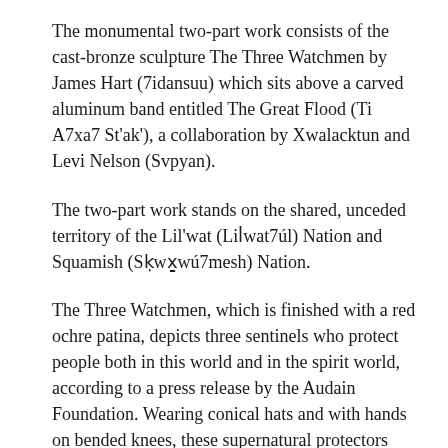The monumental two-part work consists of the cast-bronze sculpture The Three Watchmen by James Hart (7idansuu) which sits above a carved aluminum band entitled The Great Flood (Ti A7xa7 St'ak'), a collaboration by Xwalacktun and Levi Nelson (Svpyan).
The two-part work stands on the shared, unceded territory of the Lil'wat (Lil̓wat7úl) Nation and Squamish (Sḵwx̱wú7mesh) Nation.
The Three Watchmen, which is finished with a red ochre patina, depicts three sentinels who protect people both in this world and in the spirit world, according to a press release by the Audain Foundation. Wearing conical hats and with hands on bended knees, these supernatural protectors regularly appear on Haida crest poles. James, a hereditary Haida chief who is deeply involved with cultural and political planning and decision-making within his clan